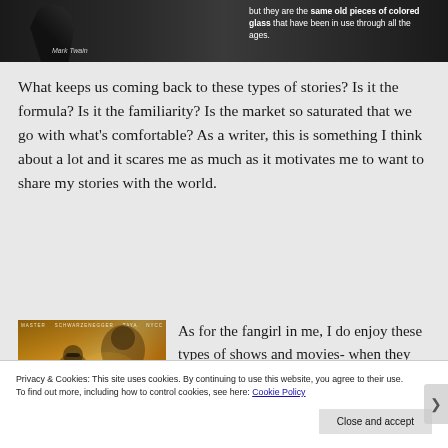[Figure (photo): Dark banner image showing a silhouetted figure (Mark Twain) on left, with white text on right reading 'but they are the same old pieces of colored glass that have been in use through all the ages.' Caption reads 'Mark Twain']
What keeps us coming back to these types of stories? Is it the formula? Is it the familiarity? Is the market so saturated that we go with what's comfortable? As a writer, this is something I think about a lot and it scares me as much as it motivates me to want to share my stories with the world.
[Figure (photo): Movie poster for Terminator: Dark Fate showing a woman with sunglasses and a robotic figure in orange/golden tones]
As for the fangirl in me, I do enjoy these types of shows and movies- when they work. There's a fine line between beating a dead horse and
Privacy & Cookies: This site uses cookies. By continuing to use this website, you agree to their use.
To find out more, including how to control cookies, see here: Cookie Policy
Close and accept